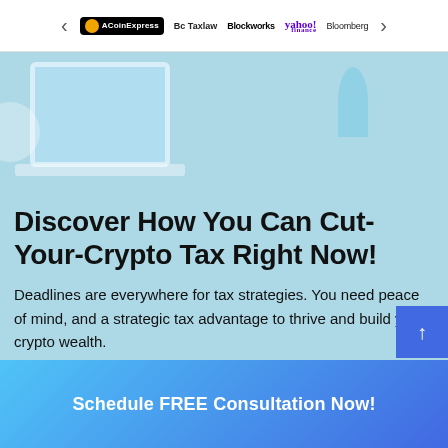[Figure (logo): Logo carousel bar with navigation arrows showing: ACoinExpress, Bc Taxlaw, Blockworks, yahoo! finance, Bloomberg]
[Figure (photo): Light blue hero section with decorative laptop and plant silhouettes in the background]
Discover How You Can Cut-Your-Crypto Tax Right Now!
Deadlines are everywhere for tax strategies. You need peace of mind, and a strategic tax advantage to thrive and build your crypto wealth.
Schedule FREE Consultation Now!